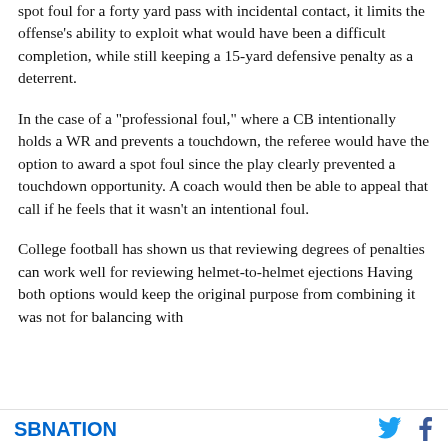spot foul for a forty yard pass with incidental contact, it limits the offense's ability to exploit what would have been a difficult completion, while still keeping a 15-yard defensive penalty as a deterrent.
In the case of a "professional foul," where a CB intentionally holds a WR and prevents a touchdown, the referee would have the option to award a spot foul since the play clearly prevented a touchdown opportunity. A coach would then be able to appeal that call if he feels that it wasn't an intentional foul.
College football has shown us that reviewing degrees of penalties can work well for reviewing helmet-to-helmet ejections Having both options would keep the original purpose from being it was not fundamentally with
SBNATION